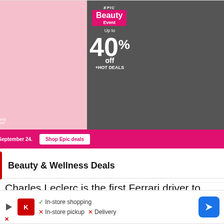[Figure (screenshot): CVS Epic Beauty Event advertisement banner showing 'Up to 40% off +HOT DEALS' with woman, beauty products, and CVS pharmacy branding. Bottom shows Beauty & Wellness Deals with CVS store info: Ashburn 08:00 - 00:00]
Charles Leclerc is the first Ferrari driver to qualify in seventh place for an F1 race at Imola since Jean Alesi at the 1992 San Marino Grand Prix.
Every driver bar two was eliminated in the same
[Figure (screenshot): Bottom advertisement showing Kroger store with checkmarks: In-store shopping (check), In-store pickup (x), Delivery (x), with navigation arrow button]